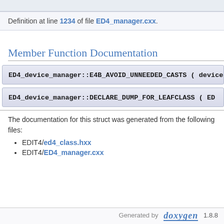Definition at line 1234 of file ED4_manager.cxx.
Member Function Documentation
ED4_device_manager::E4B_AVOID_UNNEEDED_CASTS ( device...
ED4_device_manager::DECLARE_DUMP_FOR_LEAFCLASS ( ED...
The documentation for this struct was generated from the following files:
EDIT4/ed4_class.hxx
EDIT4/ED4_manager.cxx
Generated by doxygen 1.8.8